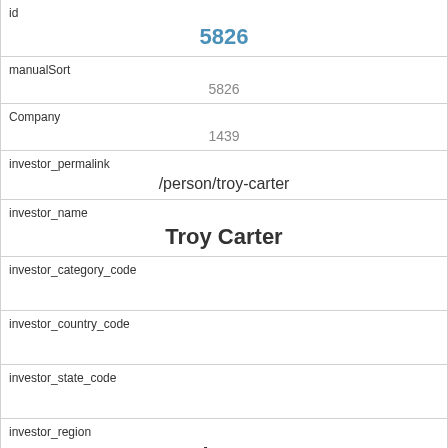| Field | Value |
| --- | --- |
| id | 5826 |
| manualSort | 5826 |
| Company | 1439 |
| investor_permalink | /person/troy-carter |
| investor_name | Troy Carter |
| investor_category_code |  |
| investor_country_code |  |
| investor_state_code |  |
| investor_region | unknown |
| investor_city |  |
| funding_round_type |  |